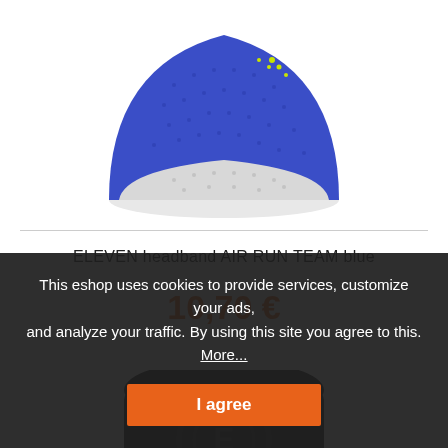[Figure (photo): Top portion of a blue and white perforated sports headband/running cap with yellow logo dots, cropped at top of page]
ELEVEN headband AIR RUN TEAM blue
10,70 €
[Figure (photo): Partial view of a dark/black sports product with a circular logo, partially obscured by cookie banner]
This eshop uses cookies to provide services, customize your ads, and analyze your traffic. By using this site you agree to this. More...
I agree